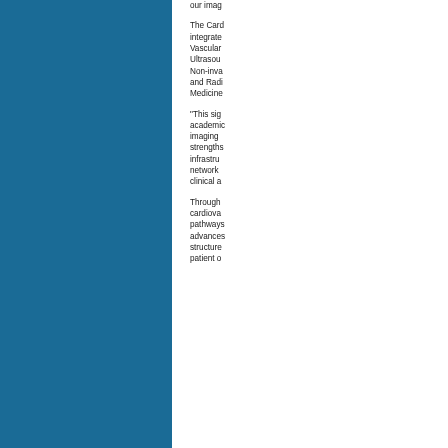our imag...
The Cardiovascular Imaging Program integrates the clinical missions of Vascular Medicine and Imaging, Ultrasound, Cardiac Imaging, Non-invasive Cardiovascular Imaging, and Radiology and Nuclear Medicine...
"This significant academic imaging strengths infrastructure network clinical a..."
Through cardiovascular pathways advances structures patient o...